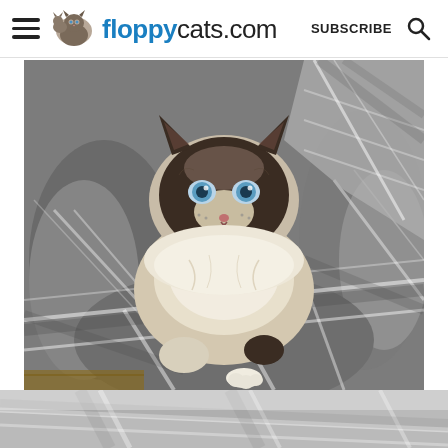floppycats.com  SUBSCRIBE
[Figure (photo): A fluffy Ragdoll or Himalayan cat with dark face mask, blue eyes, and cream/white fur, sitting on a grey and white plaid flannel blanket or comforter, looking directly at the camera.]
[Figure (photo): Partial bottom view of the same grey and white plaid blanket, cropped at the bottom edge of the page.]